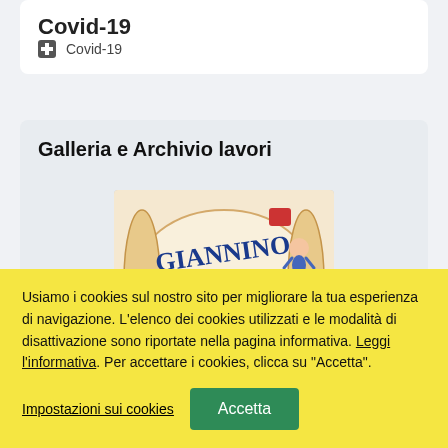Covid-19
Covid-19
Galleria e Archivio lavori
[Figure (photo): Book or magazine cover with stylized text 'GIANNINO il' and illustrated character]
Usiamo i cookies sul nostro sito per migliorare la tua esperienza di navigazione. L'elenco dei cookies utilizzati e le modalità di disattivazione sono riportate nella pagina informativa. Leggi l'informativa. Per accettare i cookies, clicca su "Accetta".
Impostazioni sui cookies
Accetta